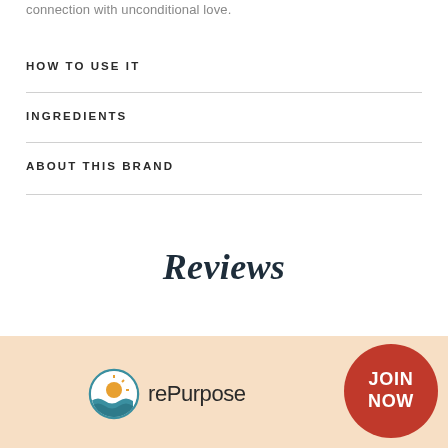connection with unconditional love.
HOW TO USE IT
INGREDIENTS
ABOUT THIS BRAND
Reviews
[Figure (logo): rePurpose logo with circular sun/ocean icon and text 'rePurpose']
JOIN NOW